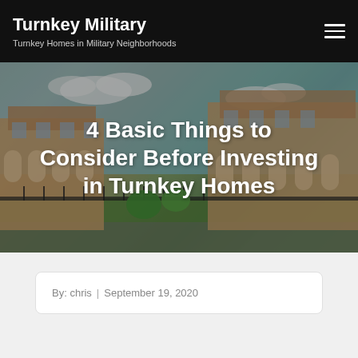Turnkey Military — Turnkey Homes in Military Neighborhoods
[Figure (photo): Hero image of upscale residential buildings with arched architecture, lush landscaping, and iron fence, used as a background for the article title.]
4 Basic Things to Consider Before Investing in Turnkey Homes
By: chris | September 19, 2020